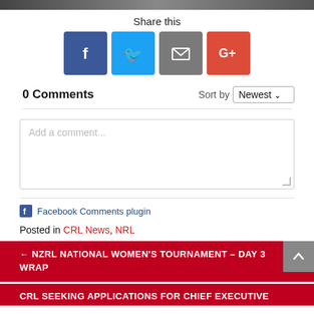[Figure (photo): Top portion of an image cropped at top of page]
Share this
[Figure (infographic): Social share buttons: Facebook (blue), Twitter (light blue), Email (grey), Google+ (red-orange)]
0 Comments
Sort by Newest
[Figure (other): Comment text input box with placeholder text 'Add a comment...']
Facebook Comments plugin
Posted in CRL News, NRL
← NZRL NATIONAL WOMEN'S TOURNAMENT – DAY 3 WRAP
CRL SEEKING APPLICATIONS FOR CHIEF EXECUTIVE